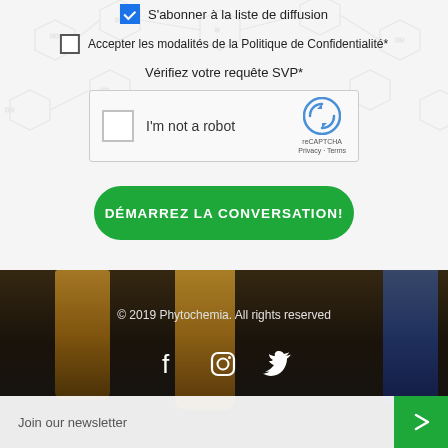S'abonner à la liste de diffusion
Accepter les modalités de la Politique de Confidentialité*
Vérifiez votre requête SVP*
[Figure (screenshot): reCAPTCHA widget with checkbox and 'I'm not a robot' label, reCAPTCHA logo, Privacy and Terms links]
DÉMARREZ LA CONVERSATION!
[Figure (photo): Dark background photo showing laboratory vials containing amber/yellow and blue liquids]
© 2019 Phytochemia. All rights reserved
[Figure (illustration): Social media icons: Facebook, Instagram, Twitter]
Join our newsletter